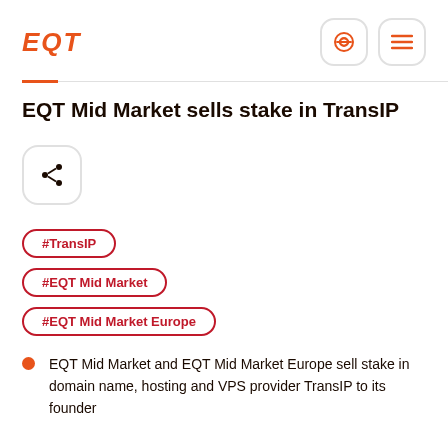EQT
EQT Mid Market sells stake in TransIP
[Figure (other): Share button icon with a network/share symbol inside a rounded rectangle]
#TransIP
#EQT Mid Market
#EQT Mid Market Europe
EQT Mid Market and EQT Mid Market Europe sell stake in domain name, hosting and VPS provider TransIP to its founder